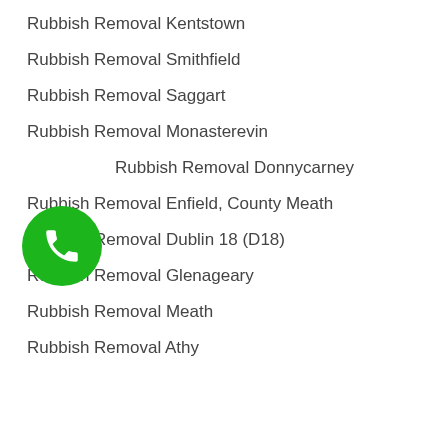Rubbish Removal Kentstown
Rubbish Removal Smithfield
Rubbish Removal Saggart
Rubbish Removal Monasterevin
Rubbish Removal Donnycarney
Rubbish Removal Enfield, County Meath
Rubbish Removal Dublin 18 (D18)
Rubbish Removal Glenageary
Rubbish Removal Meath
Rubbish Removal Athy